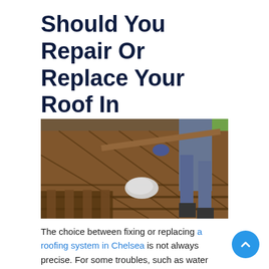Should You Repair Or Replace Your Roof In Chelsea?
[Figure (photo): A worker on a roof removing or replacing old wooden shingles/decking, bending down and pulling up boards. A white plastic bag sits on the exposed roof structure. Worn brown wooden roof boards and rafters are visible.]
The choice between fixing or replacing a roofing system in Chelsea is not always precise. For some troubles, such as water leaks causing them, would better continue, and if